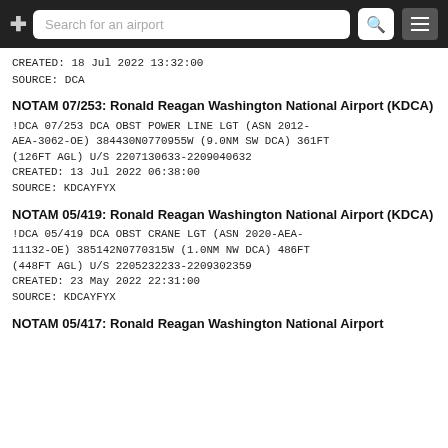Search for an airport
CREATED: 18 Jul 2022 13:32:00
SOURCE: DCA
NOTAM 07/253: Ronald Reagan Washington National Airport (KDCA)
!DCA 07/253 DCA OBST POWER LINE LGT (ASN 2012-AEA-3062-OE) 384430N0770955W (9.0NM SW DCA) 361FT (126FT AGL) U/S 2207130633-2209040632
CREATED: 13 Jul 2022 06:38:00
SOURCE: KDCAYFYX
NOTAM 05/419: Ronald Reagan Washington National Airport (KDCA)
!DCA 05/419 DCA OBST CRANE LGT (ASN 2020-AEA-11132-OE) 385142N0770315W (1.0NM NW DCA) 486FT (448FT AGL) U/S 2205232233-2209302359
CREATED: 23 May 2022 22:31:00
SOURCE: KDCAYFYX
NOTAM 05/417: Ronald Reagan Washington National Airport